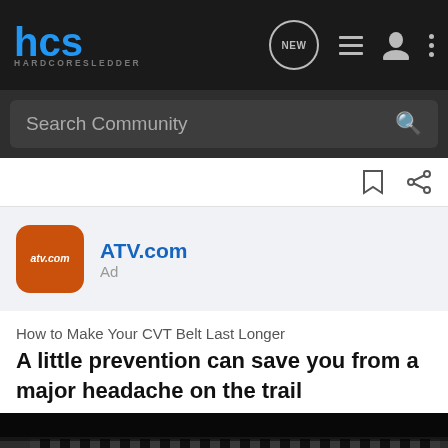HCS HARDCORESLEDDER
Search Community
[Figure (logo): ATV.com orange rounded square app icon logo]
ATV.com
Ad
How to Make Your CVT Belt Last Longer
A little prevention can save you from a major headache on the trail
[Figure (photo): Close-up photo of a CVT belt showing its ribbed rubber surface, dark background, shallow depth of field]